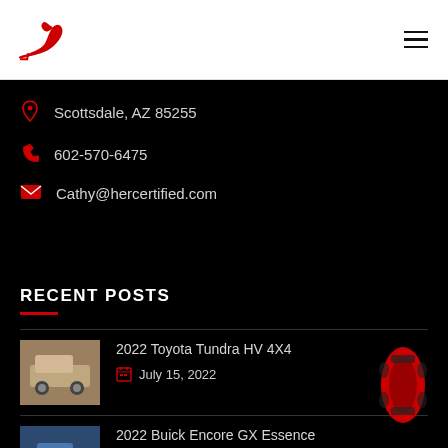HerCertified logo and hamburger menu
Scottsdale, AZ 85255
602-570-6475
Cathy@hercertified.com
RECENT POSTS
2022 Toyota Tundra HV 4X4
July 15, 2022
2022 Buick Encore GX Essence
July 14, 2022